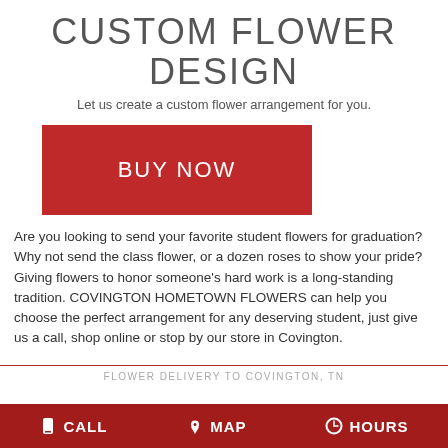CUSTOM FLOWER DESIGN
Let us create a custom flower arrangement for you.
[Figure (other): Red BUY NOW button]
Are you looking to send your favorite student flowers for graduation? Why not send the class flower, or a dozen roses to show your pride? Giving flowers to honor someone's hard work is a long-standing tradition. COVINGTON HOMETOWN FLOWERS can help you choose the perfect arrangement for any deserving student, just give us a call, shop online or stop by our store in Covington.
FLOWER DELIVERY TO COVINGTON, TN
CALL  MAP  HOURS